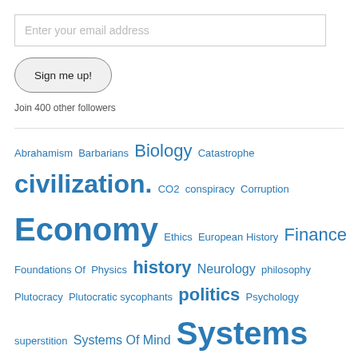Enter your email address
Sign me up!
Join 400 other followers
Abrahamism Barbarians Biology Catastrophe civilization. CO2 conspiracy Corruption Economy Ethics European History Finance Foundations Of Physics history Neurology philosophy Plutocracy Plutocratic sycophants politics Psychology superstition Systems Of Mind Systems Of Moods Systems Of Thought Theory of